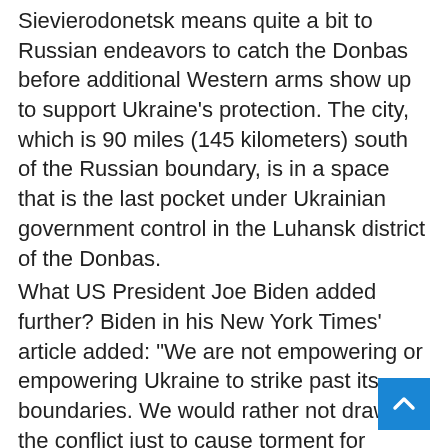Sievierodonetsk means quite a bit to Russian endeavors to catch the Donbas before additional Western arms show up to support Ukraine's protection. The city, which is 90 miles (145 kilometers) south of the Russian boundary, is in a space that is the last pocket under Ukrainian government control in the Luhansk district of the Donbas.
What US President Joe Biden added further? Biden in his New York Times' article added: "We are not empowering or empowering Ukraine to strike past its boundaries. We would rather not draw out the conflict just to cause torment for Russia."
It's the eleventh bundle endorsed up to this point, and will be quick to tap the $40 billion in security and financial help as of late passed by Congress. The rocket frameworks would be important for Pentagon drawdown authority, so